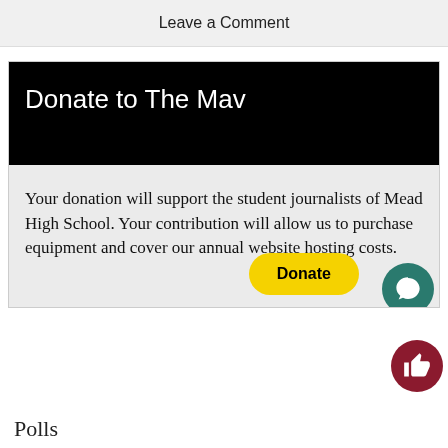Leave a Comment
Donate to The Mav
Your donation will support the student journalists of Mead High School. Your contribution will allow us to purchase equipment and cover our annual website hosting costs.
Donate
Polls